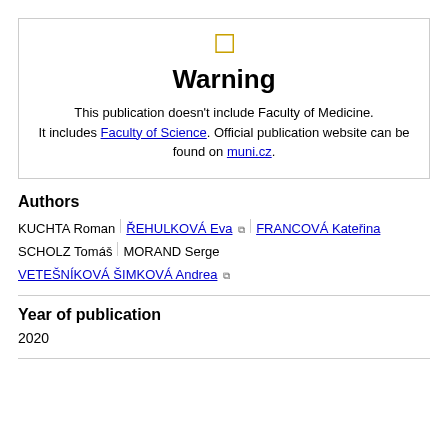[Figure (infographic): Warning box with yellow warning icon, bold 'Warning' heading, and text about faculty publication notice with links to Faculty of Science and muni.cz]
Authors
KUCHTA Roman | ŘEHULKOVÁ Eva 🔗 | FRANCOVÁ Kateřina | SCHOLZ Tomáš | MORAND Serge | VETEŠNÍKOVÁ ŠIMKOVÁ Andrea 🔗
Year of publication
2020